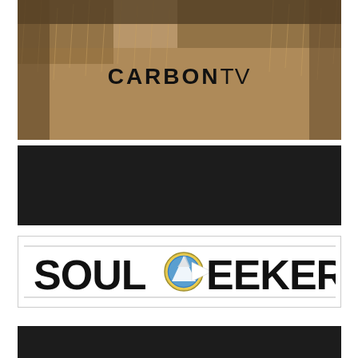[Figure (photo): Top banner image showing dry grass and terrain background with 'CARBONTV' text overlaid in bold black letters (CARBON bold, TV regular weight)]
[Figure (other): Black rectangular banner/bar below the top photo]
[Figure (logo): SOUL SEEKERS logo on white background with a circular mountain/outdoor badge emblem between SOUL and SEEKERS text, black bold sans-serif letters, with a play button triangle shape integrated into the logo]
[Figure (other): Black rectangular banner/bar at the bottom of the page]